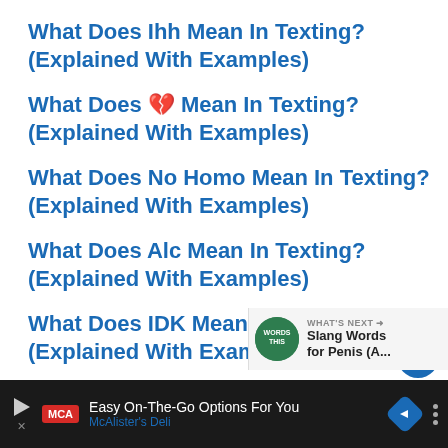What Does Ihh Mean In Texting? (Explained With Examples)
What Does 💔 Mean In Texting? (Explained With Examples)
What Does No Homo Mean In Texting? (Explained With Examples)
What Does Alc Mean In Texting? (Explained With Examples)
What Does IDK Mean In Texting? (Explained With Examples)
What Does JJY Mean In Texting?
[Figure (infographic): Sidebar with heart/like button, count of 1, and share button]
[Figure (infographic): What's Next banner with green icon and text: Slang Words for Penis (A...]
[Figure (infographic): Bottom ad bar: McAlister's Deli - Easy On-The-Go Options For You]